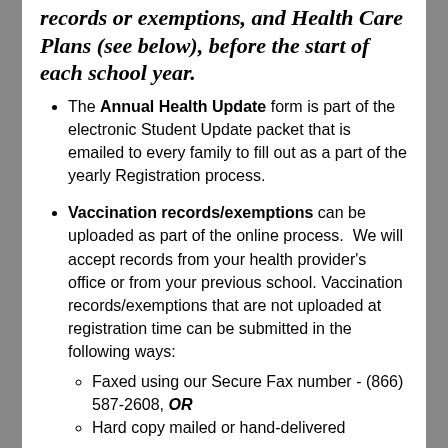records or exemptions, and Health Care Plans (see below), before the start of each school year.
The Annual Health Update form is part of the electronic Student Update packet that is emailed to every family to fill out as a part of the yearly Registration process.
Vaccination records/exemptions can be uploaded as part of the online process. We will accept records from your health provider's office or from your previous school. Vaccination records/exemptions that are not uploaded at registration time can be submitted in the following ways: Faxed using our Secure Fax number - (866) 587-2608, OR; Hard copy mailed or hand-delivered